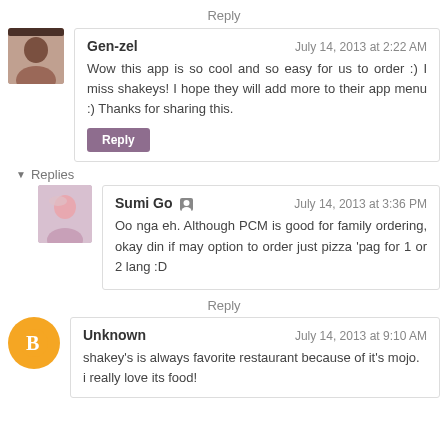Reply
Gen-zel | July 14, 2013 at 2:22 AM
Wow this app is so cool and so easy for us to order :) I miss shakeys! I hope they will add more to their app menu :) Thanks for sharing this.
Reply
Replies
Sumi Go | July 14, 2013 at 3:36 PM
Oo nga eh. Although PCM is good for family ordering, okay din if may option to order just pizza 'pag for 1 or 2 lang :D
Reply
Unknown | July 14, 2013 at 9:10 AM
shakey's is always favorite restaurant because of it's mojo. i really love its food!